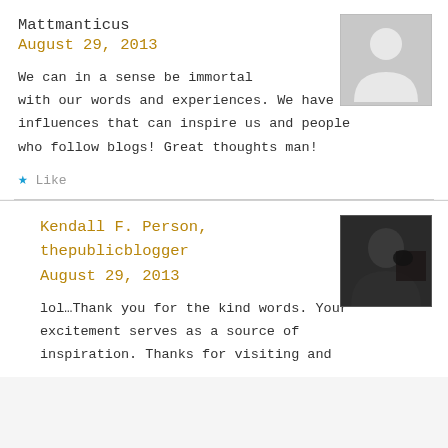Mattmanticus
August 29, 2013
[Figure (illustration): Gray placeholder avatar silhouette]
We can in a sense be immortal with our words and experiences. We have influences that can inspire us and people who follow blogs! Great thoughts man!
Like
Kendall F. Person, thepublicblogger
August 29, 2013
[Figure (photo): Dark profile photo of Kendall F. Person]
lol…Thank you for the kind words. Your excitement serves as a source of inspiration. Thanks for visiting and